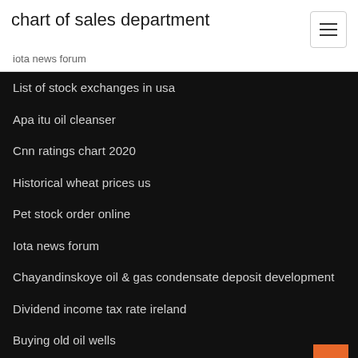chart of sales department
iota news forum
List of stock exchanges in usa
Apa itu oil cleanser
Cnn ratings chart 2020
Historical wheat prices us
Pet stock order online
Iota news forum
Chayandinskoye oil & gas condensate deposit development
Dividend income tax rate ireland
Buying old oil wells
Soybean commodity news